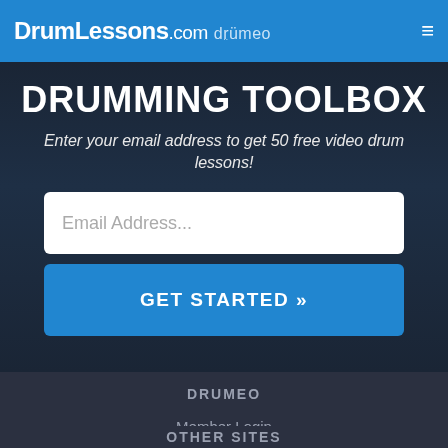DrumLessons.com drumeo
DRUMMING TOOLBOX
Enter your email address to get 50 free video drum lessons!
Email Address...
GET STARTED »
DRUMEO
Member Login
Drumeo Beat
Contact Us
OTHER SITES